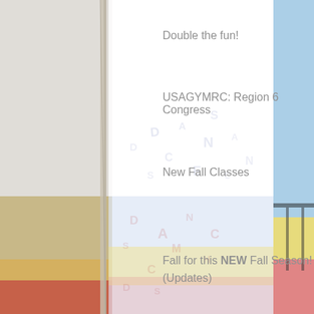[Figure (photo): Gymnasium background with climbing rope on left, blue wall with yellow accents on right, gymnastics equipment visible]
Double the fun!
USAGYMRC: Region 6 Congress
New Fall Classes
Fall for this NEW Fall Season!
(Updates)